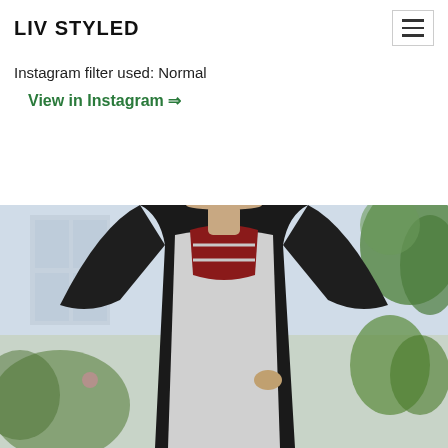LIV STYLED
Instagram filter used: Normal
View in Instagram ⇒
[Figure (photo): Fashion photo of a woman wearing a black kimono-style cardigan over a gray top with a red lattice/cage neckline detail, posing outdoors with greenery in the background]